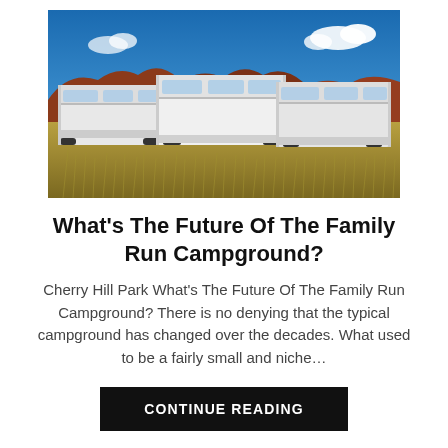[Figure (photo): Three large white RVs/motorhomes parked in a desert landscape with dry golden grass in the foreground and red rock formations under a bright blue sky with clouds.]
What's The Future Of The Family Run Campground?
Cherry Hill Park What's The Future Of The Family Run Campground? There is no denying that the typical campground has changed over the decades. What used to be a fairly small and niche…
CONTINUE READING